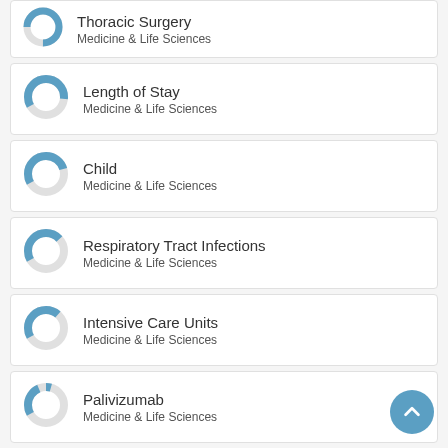Thoracic Surgery
Medicine & Life Sciences
Length of Stay
Medicine & Life Sciences
Child
Medicine & Life Sciences
Respiratory Tract Infections
Medicine & Life Sciences
Intensive Care Units
Medicine & Life Sciences
Palivizumab
Medicine & Life Sciences
Virus Diseases
Medicine & Life Sciences